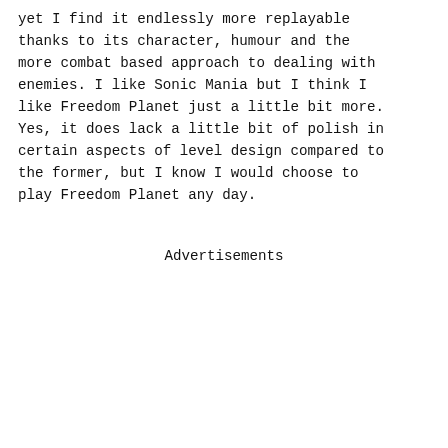yet I find it endlessly more replayable thanks to its character, humour and the more combat based approach to dealing with enemies. I like Sonic Mania but I think I like Freedom Planet just a little bit more. Yes, it does lack a little bit of polish in certain aspects of level design compared to the former, but I know I would choose to play Freedom Planet any day.
Advertisements